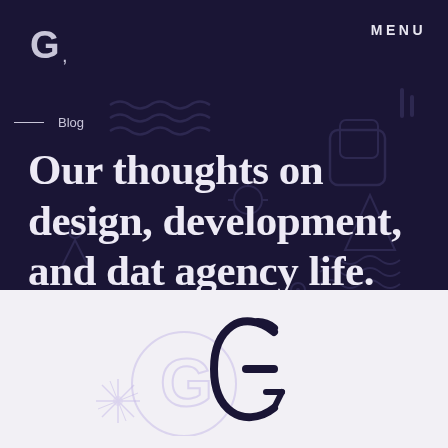G, MENU
Blog
Our thoughts on design, development, and dat agency life.
[Figure (logo): Stylized G logo mark rendered in outline style on a light off-white background, with a faded purple circular G watermark behind it]